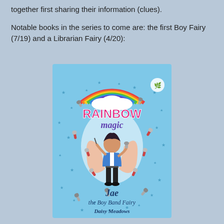together first sharing their information (clues).
Notable books in the series to come are: the first Boy Fairy (7/19) and a Librarian Fairy (4/20):
[Figure (illustration): Book cover of 'Rainbow Magic: Jae the Boy Band Fairy' by Daisy Meadows. Shows a boy fairy with peach wings, holding a microphone, wearing a blue jacket and black jeans, floating against a blue starry background with a rainbow and scattered microphones. Published by Orchard Books.]